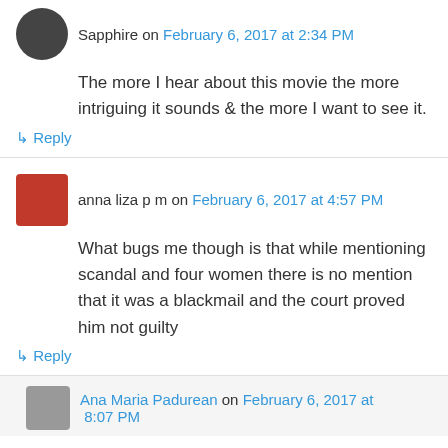Sapphire on February 6, 2017 at 2:34 PM
The more I hear about this movie the more intriguing it sounds & the more I want to see it.
↳ Reply
anna liza p m on February 6, 2017 at 4:57 PM
What bugs me though is that while mentioning scandal and four women there is no mention that it was a blackmail and the court proved him not guilty
↳ Reply
Ana Maria Padurean on February 6, 2017 at 8:07 PM